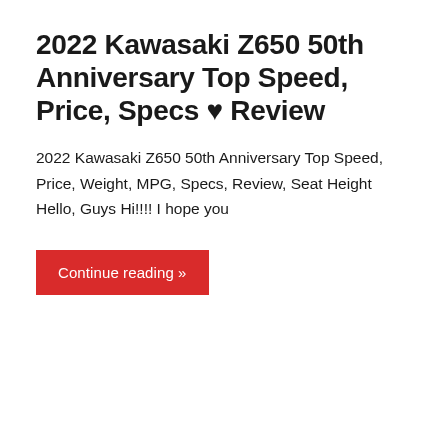2022 Kawasaki Z650 50th Anniversary Top Speed, Price, Specs ♥ Review
2022 Kawasaki Z650 50th Anniversary Top Speed, Price, Weight, MPG, Specs, Review, Seat Height Hello, Guys Hi!!!! I hope you
Continue reading »